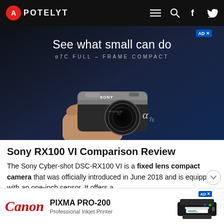APOTELYT
[Figure (photo): Sony Alpha a7C camera advertisement — 'See what small can do', α7C FULL-FRAME COMPACT — hand holding Sony mirrorless camera on dark background]
Sony RX100 VI Comparison Review
The Sony Cyber-shot DSC-RX100 VI is a fixed lens compact camera that was officially introduced in June 2018 and is equipped with an one-inch sensor. It offers a
[Figure (photo): Canon PIXMA PRO-200 Professional Inkjet Printer advertisement with Canon logo and printer image]